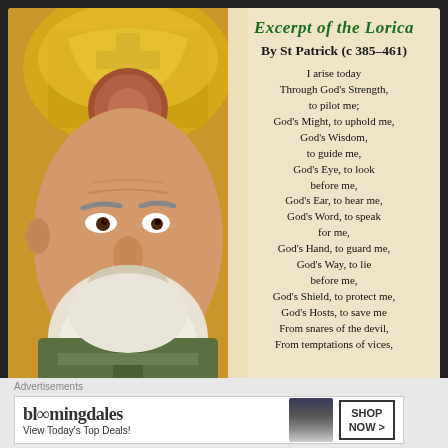[Figure (illustration): Classical illustration of St Patrick wearing golden bishop's mitre and vestments, elderly man with white beard and intense gaze, close-up portrait]
Excerpt of the Lorica
By St Patrick (c 385–461)
I arise today
Through God's Strength,
to pilot me;
God's Might, to uphold me,
God's Wisdom,
to guide me,
God's Eye, to look
before me,
God's Ear, to hear me,
God's Word, to speak
for me,
God's Hand, to guard me,
God's Way, to lie
before me,
God's Shield, to protect me,
God's Hosts, to save me
From snares of the devil,
From temptations of vices,
Advertisements
bloomingdales — View Today's Top Deals! SHOP NOW >